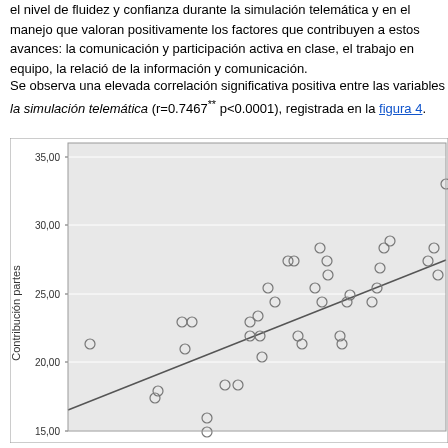el nivel de fluidez y confianza durante la simulación telemática y en el manejo que valoran positivamente los factores que contribuyen a estos avances: la comunicación y participación activa en clase, el trabajo en equipo, la relación de la información y comunicación.
Se observa una elevada correlación significativa positiva entre las variables la simulación telemática (r=0.7467** p<0.0001), registrada en la figura 4.
[Figure (continuous-plot): Scatter plot with regression line showing correlation between two variables. Y-axis labeled 'Contribución partes' with values from 15.00 to 35.00. X-axis not fully visible. Data points shown as open circles with a positive linear trend line. r=0.7467, p<0.0001.]